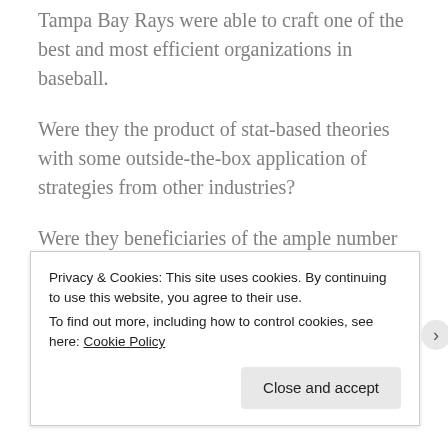Tampa Bay Rays were able to craft one of the best and most efficient organizations in baseball.
Were they the product of stat-based theories with some outside-the-box application of strategies from other industries?
Were they beneficiaries of the ample number of high draft picks accumulated as a “benefit” of being so awful for so long?
Are there ancillary aspects to the surge from baseball purgatory to a case study of how to run a team
Privacy & Cookies: This site uses cookies. By continuing to use this website, you agree to their use.
To find out more, including how to control cookies, see here: Cookie Policy
Close and accept